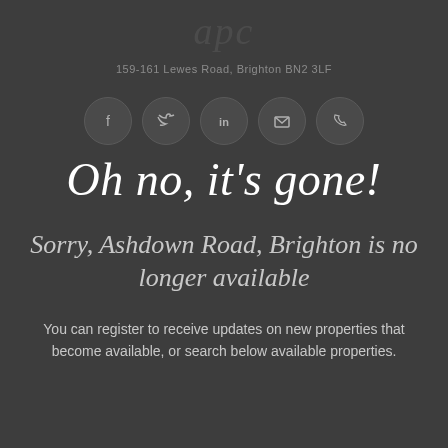[Figure (logo): Stylized cursive 'apc' logo text in dark gray]
159-161 Lewes Road, Brighton BN2 3LF
[Figure (infographic): Row of five social media icon circles: Facebook, Twitter, LinkedIn, Email, Phone]
Oh no, it's gone!
Sorry, Ashdown Road, Brighton is no longer available
You can register to receive updates on new properties that become available, or search below available properties.